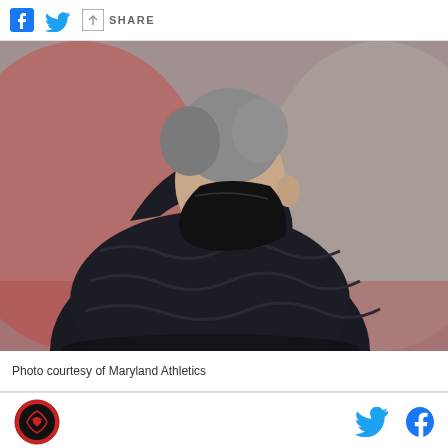Share
[Figure (photo): A man in a dark puffer jacket wearing a black face mask, seen from the side/behind, with grey hair. The background is blurred with warm red and grey tones, suggesting an outdoor sports venue.]
Photo courtesy of Maryland Athletics
Logo and social media icons (Twitter, Facebook)